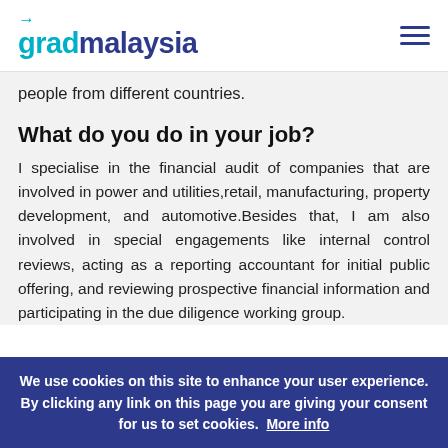gradmalaysia
people from different countries.
What do you do in your job?
I specialise in the financial audit of companies that are involved in power and utilities,retail, manufacturing, property development, and automotive.Besides that, I am also involved in special engagements like internal control reviews, acting as a reporting accountant for initial public offering, and reviewing prospective financial information and participating in the due diligence working group.
We use cookies on this site to enhance your user experience. By clicking any link on this page you are giving your consent for us to set cookies. More info